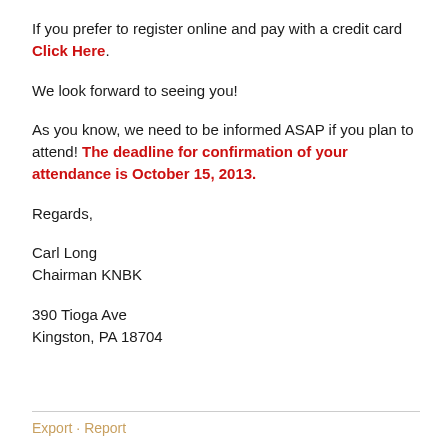If you prefer to register online and pay with a credit card Click Here.
We look forward to seeing you!
As you know, we need to be informed ASAP if you plan to attend! The deadline for confirmation of your attendance is October 15, 2013.
Regards,
Carl Long
Chairman KNBK
390 Tioga Ave
Kingston, PA 18704
Export · Report